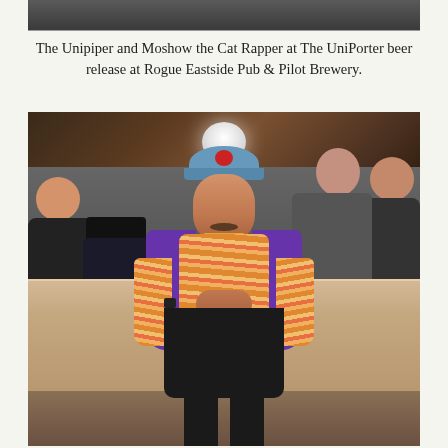[Figure (photo): Partial view of a photo at the top of the page, cropped — appears to be part of the same event]
The Unipiper and Moshow the Cat Rapper at The UniPorter beer release at Rogue Eastside Pub & Pilot Brewery.
[Figure (photo): A man wearing a blue baseball cap, purple cardigan/jacket over a striped orange shirt, sitting on a counter at Rogue Eastside Pub & Pilot Brewery. People are visible in the background. A drink sits on the counter to his left.]